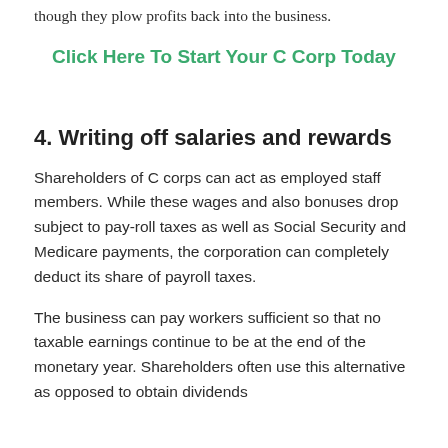though they plow profits back into the business.
Click Here To Start Your C Corp Today
4. Writing off salaries and rewards
Shareholders of C corps can act as employed staff members. While these wages and also bonuses drop subject to pay-roll taxes as well as Social Security and Medicare payments, the corporation can completely deduct its share of payroll taxes.
The business can pay workers sufficient so that no taxable earnings continue to be at the end of the monetary year. Shareholders often use this alternative as opposed to obtain dividends